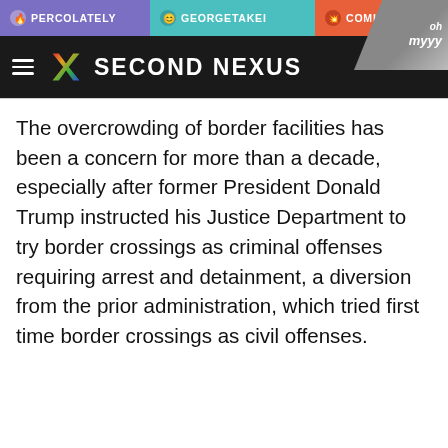PERCOLATELY | GEORGETAKEI | COMICSANDS
[Figure (logo): Second Nexus website header with colored X logo and brand name, plus ohmyyy.com branding in top-right corner]
The overcrowding of border facilities has been a concern for more than a decade, especially after former President Donald Trump instructed his Justice Department to try border crossings as criminal offenses requiring arrest and detainment, a diversion from the prior administration, which tried first time border crossings as civil offenses.